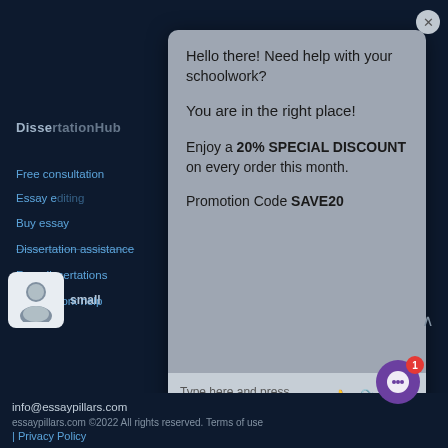[Figure (screenshot): Website screenshot with dark navy background showing essaypillars.com chat widget popup overlay]
Disse[rtationHub]
Free consultation
Essay e[diting]
Buy essay
Dissertation assistance
Free dissertations
Coursework help
Hello there! Need help with your schoolwork?
You are in the right place!
Enjoy a 20% SPECIAL DISCOUNT on every order this month.
Promotion Code SAVE20
Type here and press enter..
small
info@essaypillars.com
essaypillars.com ©2022 All rights reserved. Terms of use | Privacy Policy